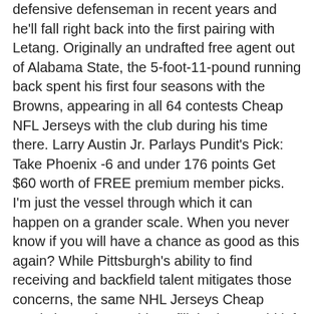defensive defenseman in recent years and he'll fall right back into the first pairing with Letang. Originally an undrafted free agent out of Alabama State, the 5-foot-11-pound running back spent his first four seasons with the Browns, appearing in all 64 contests Cheap NFL Jerseys with the club during his time there. Larry Austin Jr. Parlays Pundit's Pick: Take Phoenix -6 and under 176 points Get $60 worth of FREE premium member picks. I'm just the vessel through which it can happen on a grander scale. When you never know if you will have a chance as good as this again? While Pittsburgh's ability to find receiving and backfield talent mitigates those concerns, the same NHL Jerseys Cheap magic hasn't been able to fill the large void left by Ryan Shazier. They're still out of the playoffs after being comfortably in the postseason as little as a month ago, though, so it'll take a better effort in the second Cheap NFL Jerseys Free Shipping half for Los Angeles to Cheap NFL Jerseys return to the top eight. With that, the Blues have named Craig Berube as cheap nfl jerseys wholesale interim head coach. They've scored 215 goals and given up 262 goals